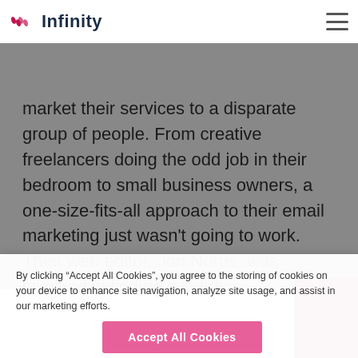Infinity
market their services to a disparate group of people. From creative freelancers doing the odd job in their bedroom to small business owners, a one-size-fits-all approach to their email marketing just wasn't going to work. Their web editor, Jon Norris, was involved in finding a solution.
By clicking “Accept All Cookies”, you agree to the storing of cookies on your device to enhance site navigation, analyze site usage, and assist in our marketing efforts.
Accept All Cookies